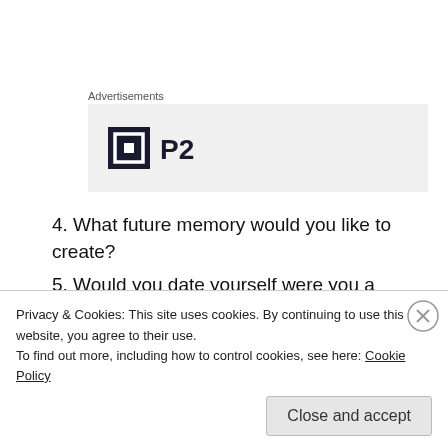Advertisements
[Figure (logo): P2 logo with dark square icon containing white rectangle cutout, followed by bold text 'P2' on grey background]
4. What future memory would you like to create?
5. Would you date yourself were you a person of the opposite sex?
6. What is success to you?
Privacy & Cookies: This site uses cookies. By continuing to use this website, you agree to their use.
To find out more, including how to control cookies, see here: Cookie Policy
Close and accept